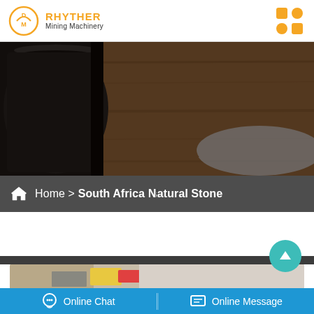RHYTHER Mining Machinery
[Figure (photo): Close-up photo of a dark coffee mug on a wooden surface, serving as a hero/banner image]
Home > South Africa Natural Stone
[Figure (photo): Partially visible product image at the bottom of the page]
Online Chat | Online Message